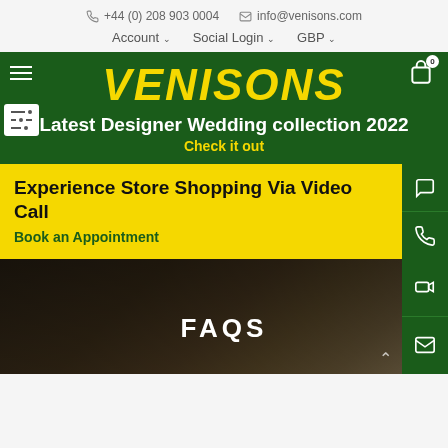+44 (0) 208 903 0004   info@venisons.com
Account ∨   Social Login ∨   GBP ∨
VENISONS
Latest Designer Wedding collection 2022
Check it out
Experience Store Shopping Via Video Call
Book an Appointment
FAQS